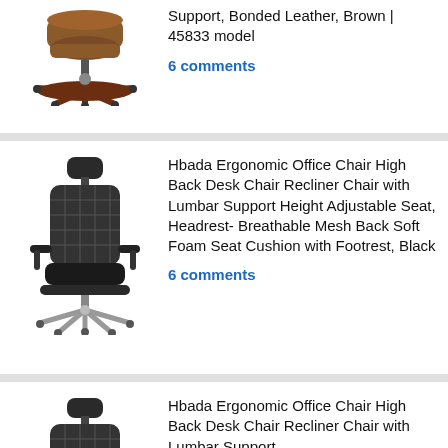[Figure (photo): Brown leather office chair with wooden base, viewed from above/front, partially cropped at top]
Support, Bonded Leather, Brown | 45833 model
6 comments
[Figure (photo): Black ergonomic office chair with mesh back, headrest, armrests, footrest, and wheeled base]
Hbada Ergonomic Office Chair High Back Desk Chair Recliner Chair with Lumbar Support Height Adjustable Seat, Headrest- Breathable Mesh Back Soft Foam Seat Cushion with Footrest, Black
6 comments
[Figure (photo): Black ergonomic office chair with mesh back and headrest, partially visible at bottom of page]
Hbada Ergonomic Office Chair High Back Desk Chair Recliner Chair with Lumbar Support